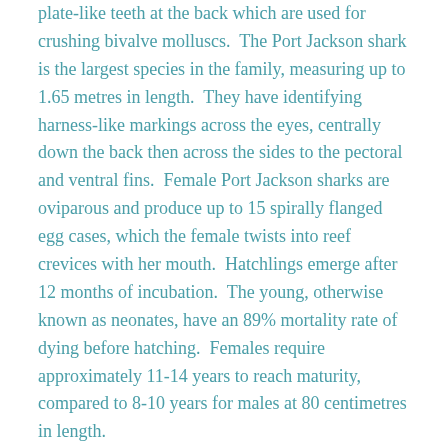plate-like teeth at the back which are used for crushing bivalve molluscs.  The Port Jackson shark is the largest species in the family, measuring up to 1.65 metres in length.  They have identifying harness-like markings across the eyes, centrally down the back then across the sides to the pectoral and ventral fins.  Female Port Jackson sharks are oviparous and produce up to 15 spirally flanged egg cases, which the female twists into reef crevices with her mouth.  Hatchlings emerge after 12 months of incubation.  The young, otherwise known as neonates, have an 89% mortality rate of dying before hatching.  Females require approximately 11-14 years to reach maturity, compared to 8-10 years for males at 80 centimetres in length.
Port Jackson sharks migrate up to 800 km north in summer, to return to the same geographical location in winter for the breeding season.  During this time this species often congregate in large open caves along